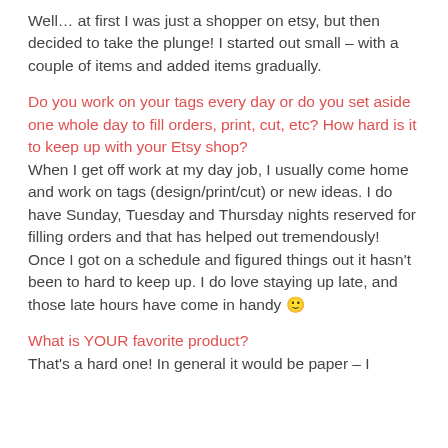Well… at first I was just a shopper on etsy, but then decided to take the plunge! I started out small – with a couple of items and added items gradually.
Do you work on your tags every day or do you set aside one whole day to fill orders, print, cut, etc? How hard is it to keep up with your Etsy shop?
When I get off work at my day job, I usually come home and work on tags (design/print/cut) or new ideas. I do have Sunday, Tuesday and Thursday nights reserved for filling orders and that has helped out tremendously! Once I got on a schedule and figured things out it hasn't been to hard to keep up. I do love staying up late, and those late hours have come in handy 🙂
What is YOUR favorite product?
That's a hard one! In general it would be paper – I